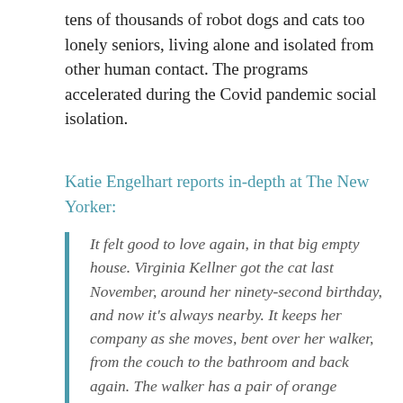tens of thousands of robot dogs and cats too lonely seniors, living alone and isolated from other human contact. The programs accelerated during the Covid pandemic social isolation.
Katie Engelhart reports in-depth at The New Yorker:
It felt good to love again, in that big empty house. Virginia Kellner got the cat last November, around her ninety-second birthday, and now it's always nearby. It keeps her company as she moves, bent over her walker, from the couch to the bathroom and back again. The walker has a pair of orange scissors hanging from the handlebar, for opening mail. Virginia likes the pet's green eyes. She likes that it's there in the morning, when she wakes up. Sometimes, on days